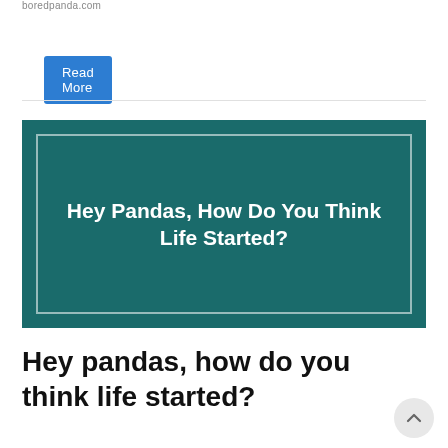boredpanda.com
Read More
[Figure (other): Dark teal banner image with white inner border containing bold white text reading 'Hey Pandas, How Do You Think Life Started?']
Hey pandas, how do you think life started?